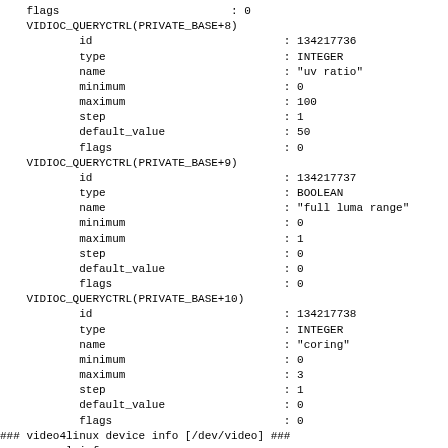flags                          : 0
    VIDIOC_QUERYCTRL(PRIVATE_BASE+8)
            id                             : 134217736
            type                           : INTEGER
            name                           : "uv ratio"
            minimum                        : 0
            maximum                        : 100
            step                           : 1
            default_value                  : 50
            flags                          : 0
    VIDIOC_QUERYCTRL(PRIVATE_BASE+9)
            id                             : 134217737
            type                           : BOOLEAN
            name                           : "full luma range"
            minimum                        : 0
            maximum                        : 1
            step                           : 0
            default_value                  : 0
            flags                          : 0
    VIDIOC_QUERYCTRL(PRIVATE_BASE+10)
            id                             : 134217738
            type                           : INTEGER
            name                           : "coring"
            minimum                        : 0
            maximum                        : 3
            step                           : 1
            default_value                  : 0
            flags                          : 0
### video4linux device info [/dev/video] ###
    general info